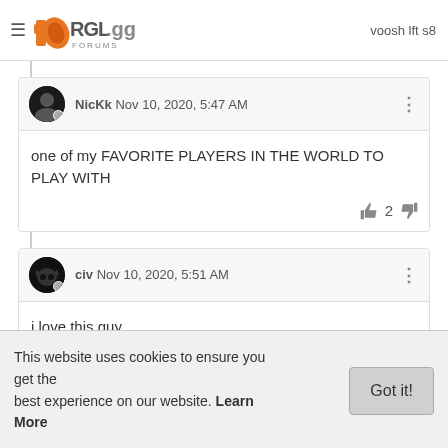voosh lft s8 — RGL.gg FORUMS
NicKk Nov 10, 2020, 5:47 AM
one of my FAVORITE PLAYERS IN THE WORLD TO PLAY WITH
👍 2 👎
civ Nov 10, 2020, 5:51 AM
i love this guy.
i give him a hard time, but i know he is a fragger.
pick him up.
This website uses cookies to ensure you get the best experience on our website. Learn More